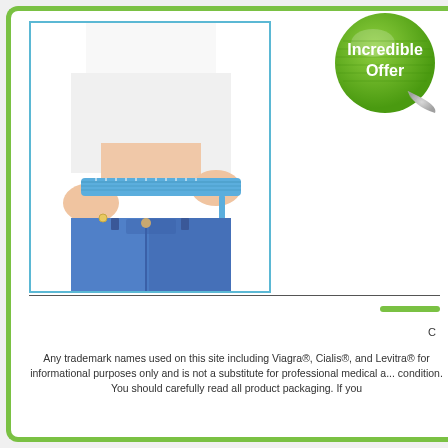[Figure (photo): Woman in white top and blue jeans measuring her waist with a blue measuring tape, cropped to show torso only]
[Figure (illustration): Green circular badge/sticker with white text reading 'Incredible Offer', curled at bottom-right corner]
Any trademark names used on this site including Viagra®, Cialis®, and Levitra® for informational purposes only and is not a substitute for professional medical a... condition. You should carefully read all product packaging. If you